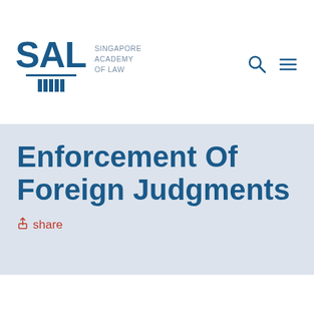SAL — Singapore Academy of Law
Enforcement Of Foreign Judgments
share